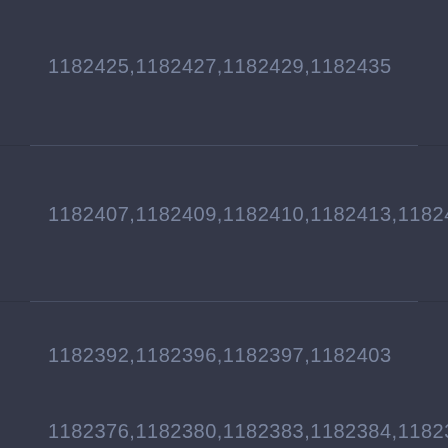1182425,1182427,1182429,1182435
1182407,1182409,1182410,1182413,1182417,1182...
1182392,1182396,1182397,1182403
1182376,1182380,1182383,1182384,1182385